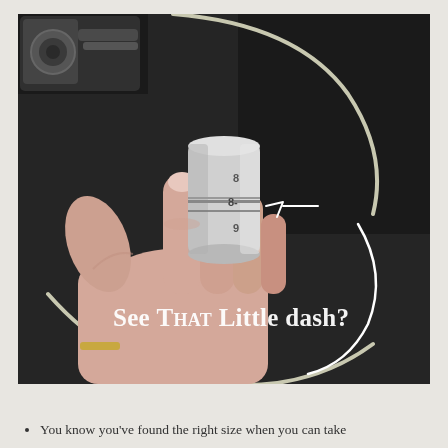[Figure (photo): A hand holding a ring sizer tool (cylindrical metal mandrel with size markings 8, 8-, 9 visible) with a wire bangle. A white arrow points to a small dash mark between size 8 and 9. Overlaid text reads 'See THAT Little dash?' in white serif font. Dark background.]
You know you've found the right size when you can take